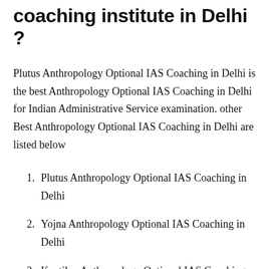coaching institute in Delhi ?
Plutus Anthropology Optional IAS Coaching in Delhi is the best Anthropology Optional IAS Coaching in Delhi for Indian Administrative Service examination. other Best Anthropology Optional IAS Coaching in Delhi are listed below
Plutus Anthropology Optional IAS Coaching in Delhi
Yojna Anthropology Optional IAS Coaching in Delhi
Kautilya Anthropology Optional IAS Coaching in Delhi